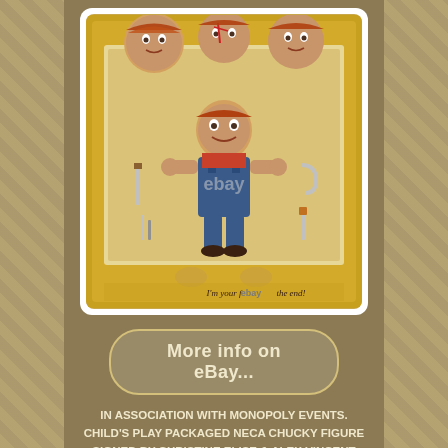[Figure (photo): NECA Child's Play Chucky action figure in original packaging. The package has a gold/yellow border and shows three alternate heads at top. The figure is in blue overalls. Package text reads 'I'm your friend to the end!' with eBay watermark overlay.]
More info on eBay...
IN ASSOCIATION WITH MONOPOLY EVENTS. CHILD'S PLAY PACKAGED NECA CHUCKY FIGURE SIGNED BY CHRISTINE ELISE & ALEX VINCENT 100% AUTHENTIC WITH COA. Receive it within 2 days from order! If you have any problems we can help! A fantastic opportunity to own a signed and highly collectable Child's Play Chucky figure by